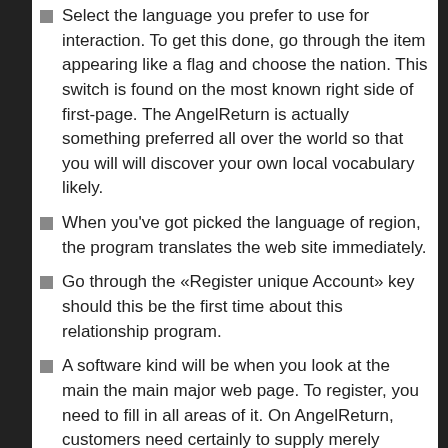Select the language you prefer to use for interaction. To get this done, go through the item appearing like a flag and choose the nation. This switch is found on the most known right side of first-page. The AngelReturn is actually something preferred all over the world so that you will will discover your own local vocabulary likely.
When you've got picked the language of region, the program translates the web site immediately.
Go through the «Register unique Account» key should this be the first time about this relationship program.
A software kind will be when you look at the main the main major web page. To register, you need to fill in all areas of it. On AngelReturn, customers need certainly to supply merely general information regarding all of them. This information consists of:
Even though enrollment demands are not because strict as on